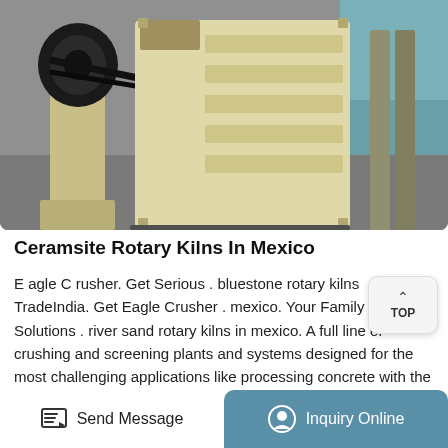[Figure (photo): Industrial jaw crusher machine with cream/yellow painted heavy steel body, visible ribbed frame panels, flywheel/belt assembly on left side, shown on concrete floor in industrial setting]
Ceramsite Rotary Kilns In Mexico
E agle C rusher. Get Serious . bluestone rotary kilns TradeIndia. Get Eagle Crusher . mexico. Your Family Powerful Solutions . river sand rotary kilns in mexico. A full line of crushing and screening plants and systems designed for the most challenging applications like processing concrete with the toughest, high-volume steel rebar, with ease . rotary furnace sale Zoodel. Processing the most abrasive hard rock without